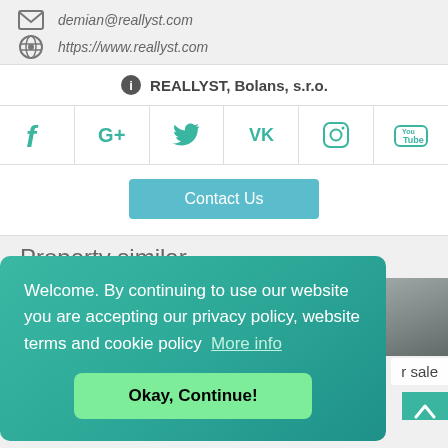demian@reallyst.com
https://www.reallyst.com
REALLYST, Bolans, s.r.o.
[Figure (infographic): Social media icons row: Facebook, Google+, Twitter, VK, Instagram, YouTube]
Contact Us
Property similar
971 722 EUR
Welcome. By continuing to use our website you are accepting our privacy policy, website terms and cookie policy  More info
Okay, Continue!
r sale
Hluboceprska, 132 00 Praha 3, Техни